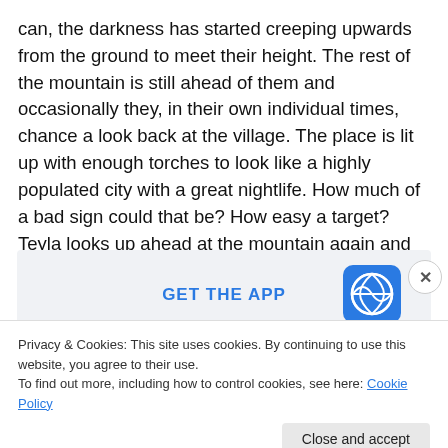can, the darkness has started creeping upwards from the ground to meet their height. The rest of the mountain is still ahead of them and occasionally they, in their own individual times, chance a look back at the village. The place is lit up with enough torches to look like a highly populated city with a great nightlife. How much of a bad sign could that be? How easy a target? Teyla looks up ahead at the mountain again and suddenly stops.
[Figure (screenshot): App promotion banner with 'GET THE APP' text in blue and WordPress logo icon on the right, on a light gray background.]
Privacy & Cookies: This site uses cookies. By continuing to use this website, you agree to their use.
To find out more, including how to control cookies, see here: Cookie Policy
Close and accept